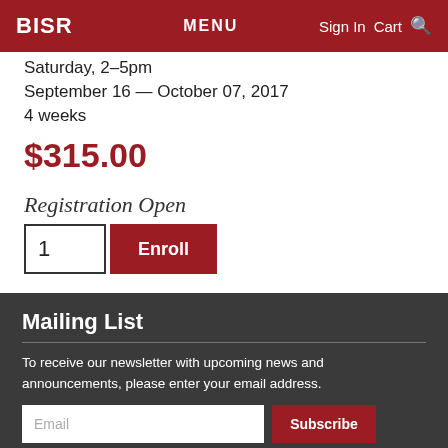BISR   MENU   Sign In  Cart
Saturday, 2–5pm
September 16 — October 07, 2017
4 weeks
$315.00
Registration Open
1   Enroll
Mailing List
To receive our newsletter with upcoming news and announcements, please enter your email address.
Email   Subscribe